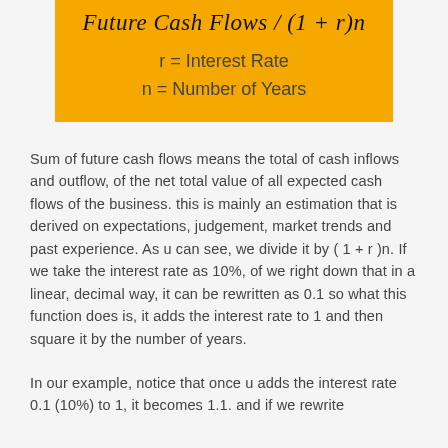Sum of future cash flows means the total of cash inflows and outflow, of the net total value of all expected cash flows of the business. this is mainly an estimation that is derived on expectations, judgement, market trends and past experience. As u can see, we divide it by ( 1 + r )n. If we take the interest rate as 10%, of we right down that in a linear, decimal way, it can be rewritten as 0.1 so what this function does is, it adds the interest rate to 1 and then square it by the number of years.
In our example, notice that once u adds the interest rate 0.1 (10%) to 1, it becomes 1.1. and if we rewrite